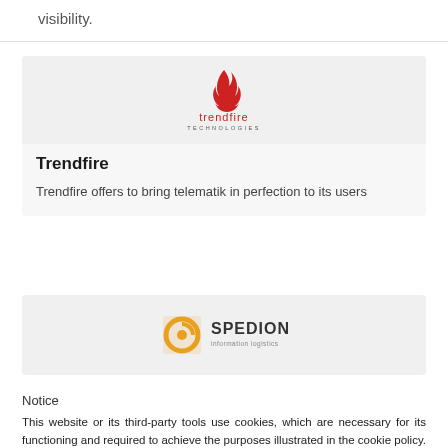visibility.
[Figure (logo): Trendfire Technologies logo — red flame icon above the text 'trendfire TECHNOLOGIES']
Trendfire
Trendfire offers to bring telematik in perfection to its users
[Figure (logo): Spedion information logistics logo — orange circular swirl icon next to the text 'SPEDION information logistics']
Notice
This website or its third-party tools use cookies, which are necessary for its functioning and required to achieve the purposes illustrated in the cookie policy. If you want to learn more or withdraw your consent to all or some of the cookies, please refer to the cookie policy. You agree to the use of cookies by closing or dismissing this banner.